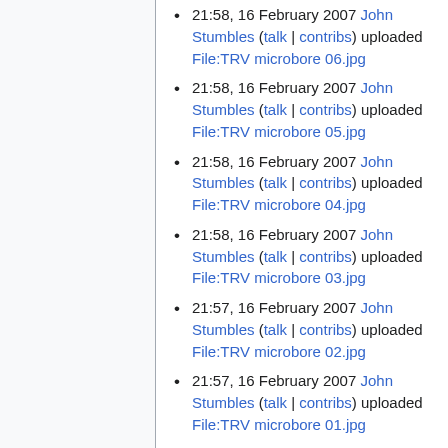21:58, 16 February 2007 John Stumbles (talk | contribs) uploaded File:TRV microbore 06.jpg
21:58, 16 February 2007 John Stumbles (talk | contribs) uploaded File:TRV microbore 05.jpg
21:58, 16 February 2007 John Stumbles (talk | contribs) uploaded File:TRV microbore 04.jpg
21:58, 16 February 2007 John Stumbles (talk | contribs) uploaded File:TRV microbore 03.jpg
21:57, 16 February 2007 John Stumbles (talk | contribs) uploaded File:TRV microbore 02.jpg
21:57, 16 February 2007 John Stumbles (talk | contribs) uploaded File:TRV microbore 01.jpg
04:55, 4 February 2007 NT (talk | contribs) uploaded